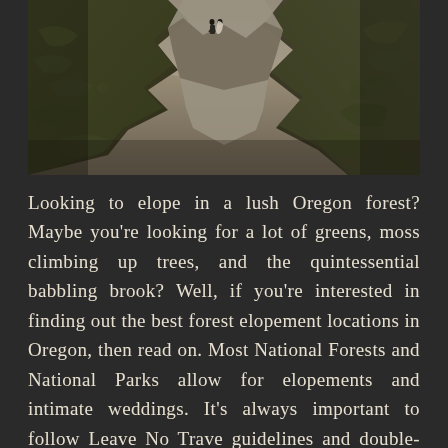[Figure (photo): A couple standing on a rocky cliff or hillside covered in moss and green vegetation, photographed from below looking up, with a dramatic overcast sky. The image has a dark, moody tone with earthy greens and browns.]
Looking to elope in a lush Oregon forest? Maybe you're looking for a lot of greens, moss climbing up trees, and the quintessential babbling brook? Well, if you're interested in finding out the best forest elopement locations in Oregon, then read on. Most National Forests and National Parks allow for elopements and intimate weddings. It's always important to follow Leave No Trave guidelines and double-check what these forests allow prior to planning your wedding day. That being said, it's still a whole heck of a lot easier than spending 9k on a